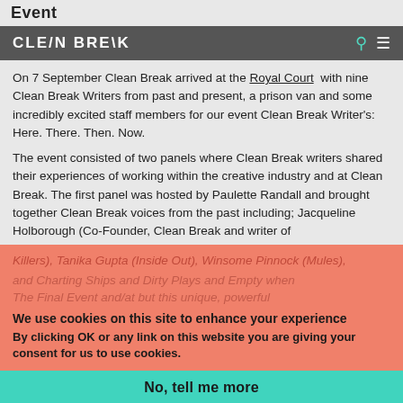Event
CLEAN BREAK
On 7 September Clean Break arrived at the Royal Court with nine Clean Break Writers from past and present, a prison van and some incredibly excited staff members for our event Clean Break Writer's: Here. There. Then. Now.
The event consisted of two panels where Clean Break writers shared their experiences of working within the creative industry and at Clean Break. The first panel was hosted by Paulette Randall and brought together Clean Break voices from the past including; Jacqueline Holborough (Co-Founder, Clean Break and writer of
Killers), Tanika Gupta (Inside Out), Winsome Pinnock (Mules), We use cookies on this site to enhance your experience By clicking OK or any link on this website you are giving your consent for us to use cookies.
OK
No, tell me more